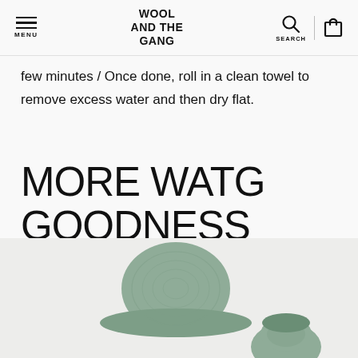WOOL AND THE GANG — MENU / SEARCH / CART
few minutes / Once done, roll in a clean towel to remove excess water and then dry flat.
MORE WATG GOODNESS
[Figure (photo): Two sage green crocheted items (a bucket hat and a smaller accessory) on a light background, partially cropped at the bottom of the page.]